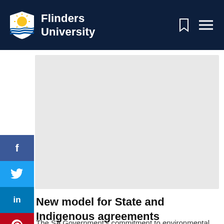Flinders University
[Figure (photo): Hero image placeholder – light grey rectangle representing an article header image]
[Figure (infographic): Social media share buttons sidebar: Facebook (blue), Twitter (light blue), LinkedIn (blue), Pinterest (red), Tumblr (dark blue)]
New model for State and Indigenous agreements
The SA Government's commitment to environmental